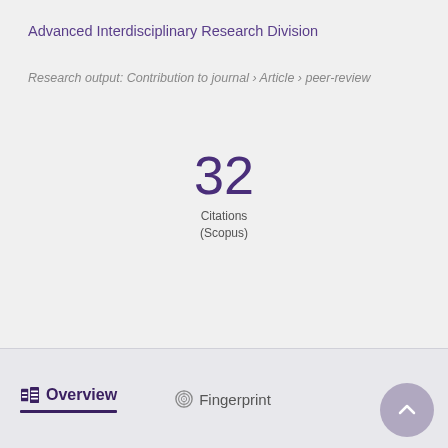Advanced Interdisciplinary Research Division
Research output: Contribution to journal › Article › peer-review
32 Citations (Scopus)
Overview
Fingerprint